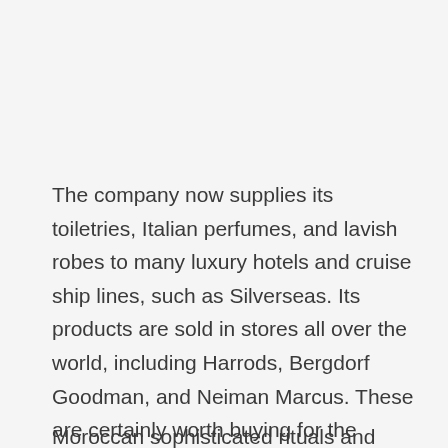The company now supplies its toiletries, Italian perfumes, and lavish robes to many luxury hotels and cruise ship lines, such as Silverseas. Its products are sold in stores all over the world, including Harrods, Bergdorf Goodman, and Neiman Marcus. These are certainly worth buying for the pleasure of adding a touch of Italian elegance to one's life!
Moroccan sophisticated rituals and authentic